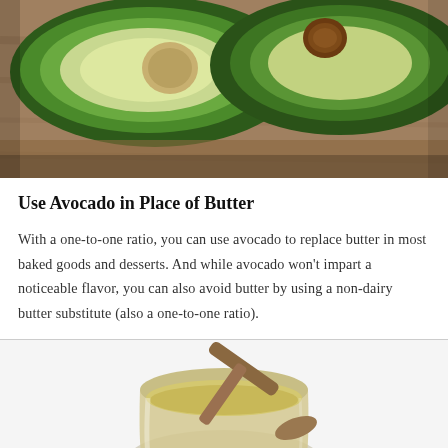[Figure (photo): Two halved avocados on a wooden surface, showing the green flesh and pit cavity]
Use Avocado in Place of Butter
With a one-to-one ratio, you can use avocado to replace butter in most baked goods and desserts. And while avocado won't impart a noticeable flavor, you can also avoid butter by using a non-dairy butter substitute (also a one-to-one ratio).
[Figure (photo): A glass jar filled with golden-yellow powder or ground substance, with a wooden spoon resting in it, viewed from above on a white background]